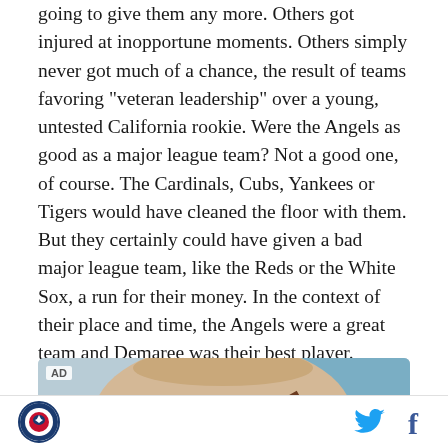going to give them any more. Others got injured at inopportune moments. Others simply never got much of a chance, the result of teams favoring "veteran leadership" over a young, untested California rookie. Were the Angels as good as a major league team? Not a good one, of course. The Cardinals, Cubs, Yankees or Tigers would have cleaned the floor with them. But they certainly could have given a bad major league team, like the Reds or the White Sox, a run for their money. In the context of their place and time, the Angels were a great team and Demaree was their best player.
[Figure (photo): Advertisement image showing what appears to be a person wearing a hat, with a blue/grey background. An 'AD' label is shown in the top-left corner.]
Logo | Twitter | Facebook